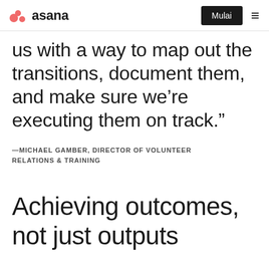asana — Mulai ≡
us with a way to map out the transitions, document them, and make sure we’re executing them on track.”
—MICHAEL GAMBER, DIRECTOR OF VOLUNTEER RELATIONS & TRAINING
Achieving outcomes, not just outputs